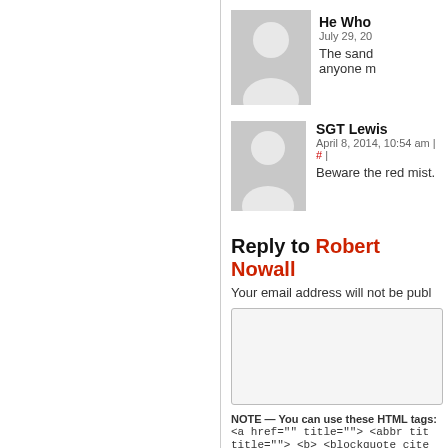He Who
July 29, 20
The sand… anyone m…
SGT Lewis
April 8, 2014, 10:54 am | # |
Beware the red mist.
Reply to Robert Nowall
Your email address will not be published.
NOTE — You can use these HTML tags:
<a href="" title=""> <abbr title=""> <b> <blockquote cite=""> <del datetime=""> <em> <i> <q <strong>